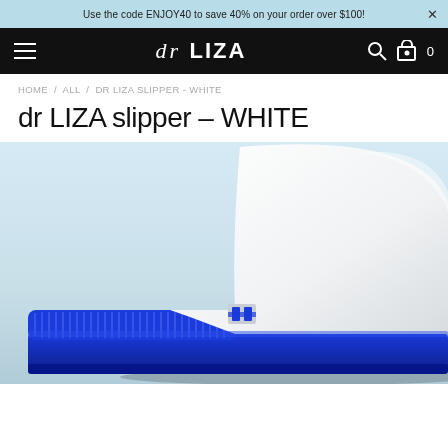Use the code ENJOY40 to save 40% on your order over $100!
dr LIZA
HOME / ALL / DR LIZA SLIPPER - WHITE
dr LIZA slipper – WHITE
[Figure (photo): Close-up product photo of a white leather dr LIZA slipper with a bright blue rubber sole and blue fuzzy strap, photographed on a light blue-grey background.]